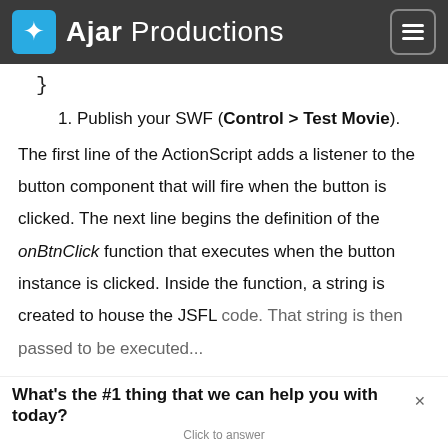Ajar Productions
}
1. Publish your SWF (Control > Test Movie).
The first line of the ActionScript adds a listener to the button component that will fire when the button is clicked. The next line begins the definition of the onBtnClick function that executes when the button instance is clicked. Inside the function, a string is created to house the JSFL code. That string is then passed to be executed...
What's the #1 thing that we can help you with today? Click to answer